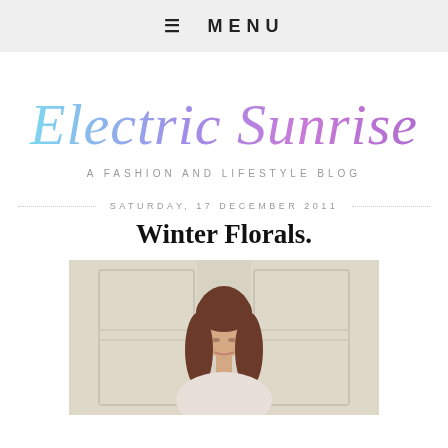≡ MENU
[Figure (logo): Electric Sunrise blog logo in cursive gradient script (cyan to purple) with subtitle 'A FASHION AND LIFESTYLE BLOG']
SATURDAY, 17 DECEMBER 2011
Winter Florals.
[Figure (photo): Photo of a young woman with long brown hair, eyes downcast, standing in front of a white paneled wall/door]